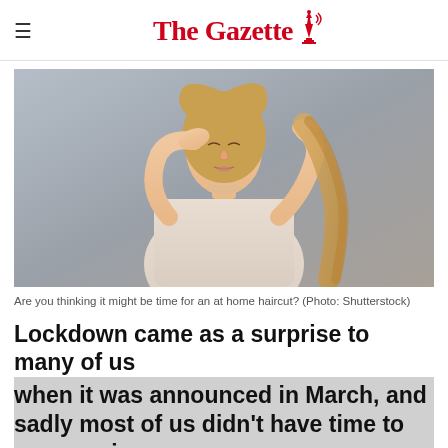The Gazette
[Figure (photo): Woman in a beige long-sleeve top holding her long blonde hair with one hand raised to her forehead in a frustrated expression, against a gray background.]
Are you thinking it might be time for an at home haircut? (Photo: Shutterstock)
Lockdown came as a surprise to many of us when it was announced in March, and sadly most of us didn't have time to squeeze in a